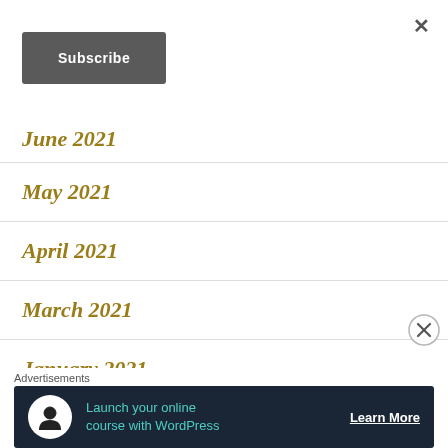×
Subscribe
June 2021
May 2021
April 2021
March 2021
January 2021
December 2020
Advertisements
Launch your online course with WordPress  Learn More